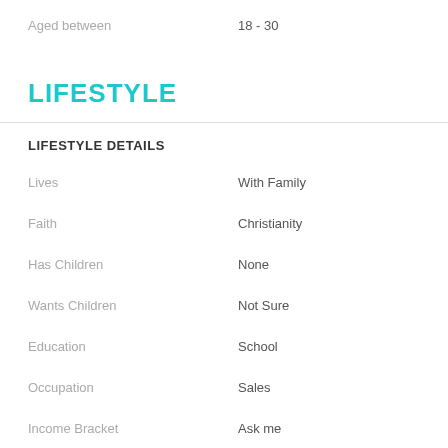Aged between    18 - 30
LIFESTYLE
LIFESTYLE DETAILS
Lives    With Family
Faith    Christianity
Has Children    None
Wants Children    Not Sure
Education    School
Occupation    Sales
Income Bracket    Ask me